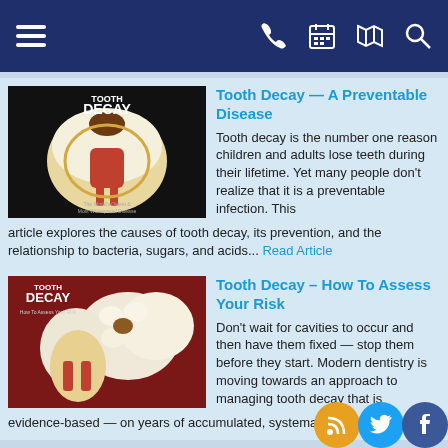[Figure (screenshot): Dark navy navigation bar with hamburger menu on left and phone, calendar, map, and search icons on right, white icons on dark blue background]
[Figure (photo): Tooth Decay article thumbnail showing cross-section illustration of a tooth with decay, black background with 'TOOTH DECAY' text]
Tooth Decay — A Preventable Disease
Tooth decay is the number one reason children and adults lose teeth during their lifetime. Yet many people don't realize that it is a preventable infection. This article explores the causes of tooth decay, its prevention, and the relationship to bacteria, sugars, and acids... Read Article
[Figure (photo): Tooth Decay - How To Assess Your Risk article thumbnail showing molar teeth with decay illustration on dark red background with 'TOOTH DECAY' text]
Tooth Decay – How To Assess Your Risk
Don't wait for cavities to occur and then have them fixed — stop them before they start. Modern dentistry is moving towards an approach to managing tooth decay that is evidence-based — on years of accumulated, systematic, and